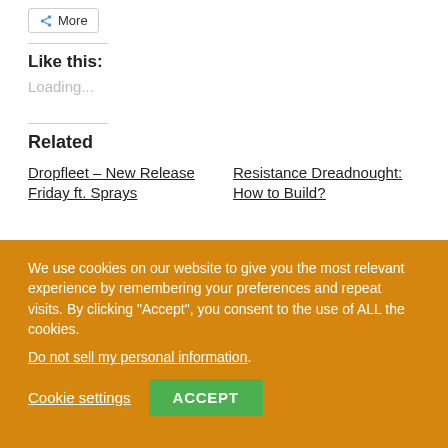More
Like this:
Loading...
Related
Dropfleet – New Release Friday ft. Sprays
Resistance Dreadnought: How to Build?
We use cookies on our website to give you the most relevant experience by remembering your preferences and repeat visits. By clicking "Accept", you consent to the use of ALL the cookies.
Do not sell my personal information.
Cookie settings
ACCEPT